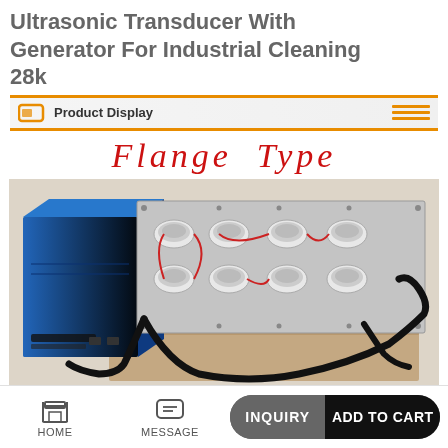Ultrasonic Transducer With Generator For Industrial Cleaning 28k
Product Display
Flange Type
[Figure (photo): Ultrasonic transducer flange type unit with blue generator box on left and stainless steel transducer plate with multiple transducers and black cables on right, sitting on a wooden base.]
HOME | MESSAGE | INQUIRY | ADD TO CART